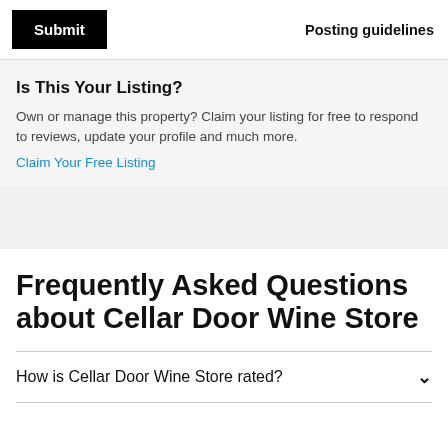[Figure (screenshot): Submit button (black rectangle with white text)]
Posting guidelines
Is This Your Listing?
Own or manage this property? Claim your listing for free to respond to reviews, update your profile and much more. Claim Your Free Listing
Frequently Asked Questions about Cellar Door Wine Store
How is Cellar Door Wine Store rated?